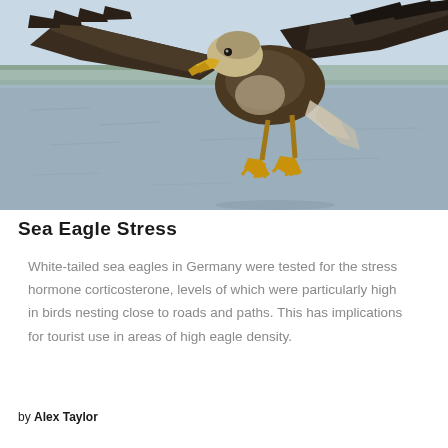[Figure (photo): A white-tailed sea eagle in flight over water, viewed from slightly below. The eagle has dark brown plumage, a yellow beak, white tail feathers partially visible, and bright yellow talons extended downward. Background shows grey-blue water and a distant shoreline with trees.]
Sea Eagle Stress
White-tailed sea eagles in Germany were tested for the stress hormone corticosterone, levels of which were particularly high in birds nesting close to roads and paths. This has implications for tourist use in areas of high eagle density.
by Alex Taylor